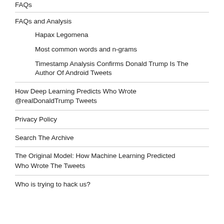FAQs
FAQs and Analysis
Hapax Legomena
Most common words and n-grams
Timestamp Analysis Confirms Donald Trump Is The Author Of Android Tweets
How Deep Learning Predicts Who Wrote @realDonaldTrump Tweets
Privacy Policy
Search The Archive
The Original Model: How Machine Learning Predicted Who Wrote The Tweets
Who is trying to hack us?